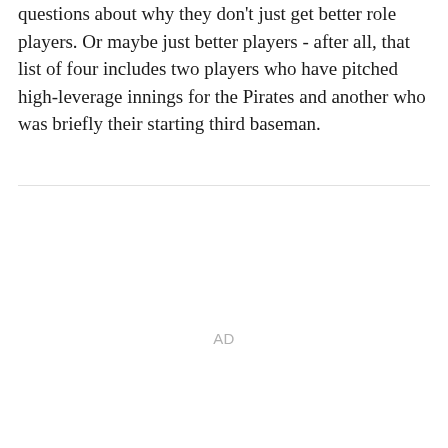questions about why they don't just get better role players. Or maybe just better players - after all, that list of four includes two players who have pitched high-leverage innings for the Pirates and another who was briefly their starting third baseman.
AD